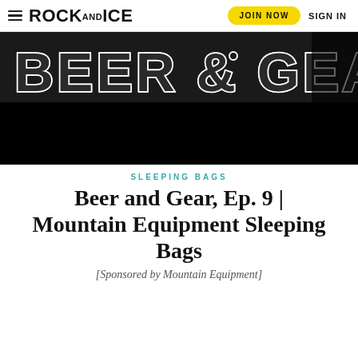ROCK AND ICE  JOIN NOW  SIGN IN
[Figure (photo): Dark background image with large white block letters reading BEER & GEAR]
SLEEPING BAGS
Beer and Gear, Ep. 9 | Mountain Equipment Sleeping Bags
[Sponsored by Mountain Equipment]